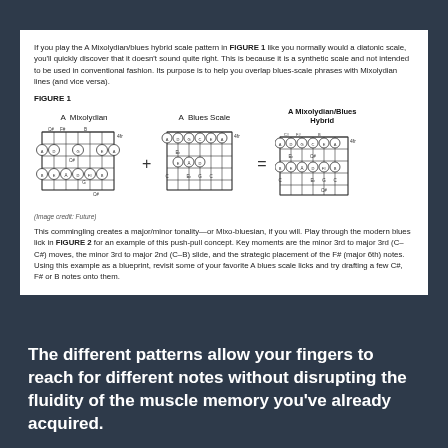If you play the A Mixolydian/blues hybrid scale pattern in FIGURE 1 like you normally would a diatonic scale, you'll quickly discover that it doesn't sound quite right. This is because it is a synthetic scale and not intended to be used in conventional fashion. Its purpose is to help you overlap blues-scale phrases with Mixolydian lines (and vice versa).
FIGURE 1
[Figure (illustration): Three guitar fretboard diagrams showing A Mixolydian, A Blues Scale, and A Mixolydian/Blues Hybrid, connected by + and = signs]
(Image credit: Future)
This commingling creates a major/minor tonality—or Mixo-bluesian, if you will. Play through the modern blues lick in FIGURE 2 for an example of this push-pull concept. Key moments are the minor 3rd to major 3rd (C–C#) moves, the minor 3rd to major 2nd (C–B) slide, and the strategic placement of the F# (major 6th) notes. Using this example as a blueprint, revisit some of your favorite A blues scale licks and try drafting a few C#, F# or B notes onto them.
The different patterns allow your fingers to reach for different notes without disrupting the fluidity of the muscle memory you've already acquired.